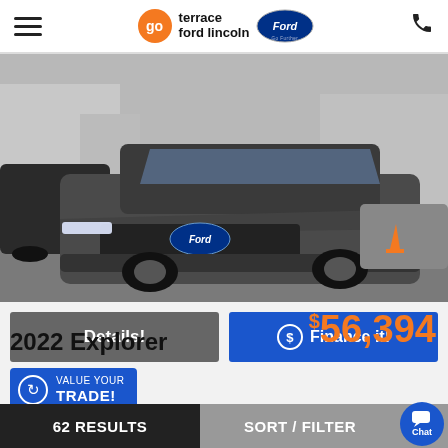go terrace ford lincoln | Go Further
[Figure (photo): Dark gray 2022 Ford Explorer SUV parked in a dealership lot, front three-quarter view, other vehicles visible in background]
Details!
$ Finance it!
VALUE YOUR TRADE!
$56,394
2022 Explorer
62 RESULTS | SORT / FILTER | Chat